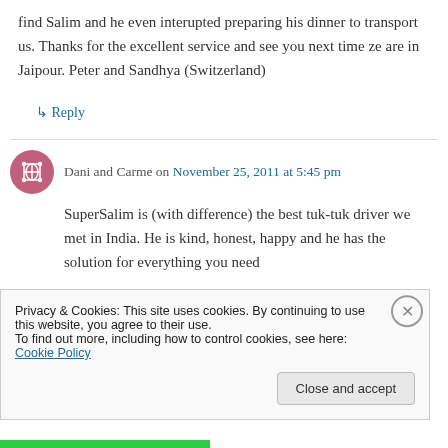find Salim and he even interupted preparing his dinner to transport us. Thanks for the excellent service and see you next time ze are in Jaipour. Peter and Sandhya (Switzerland)
↳ Reply
Dani and Carme on November 25, 2011 at 5:45 pm
SuperSalim is (with difference) the best tuk-tuk driver we met in India. He is kind, honest, happy and he has the solution for everything you need
Privacy & Cookies: This site uses cookies. By continuing to use this website, you agree to their use.
To find out more, including how to control cookies, see here: Cookie Policy